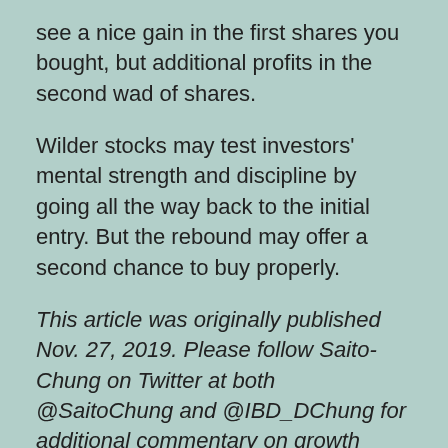see a nice gain in the first shares you bought, but additional profits in the second wad of shares.
Wilder stocks may test investors' mental strength and discipline by going all the way back to the initial entry. But the rebound may offer a second chance to buy properly.
This article was originally published Nov. 27, 2019. Please follow Saito-Chung on Twitter at both @SaitoChung and @IBD_DChung for additional commentary on growth stocks, breakouts, chart analysis and financial